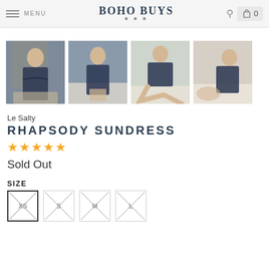MENU | BOHO BUYS | 0
[Figure (photo): Four product photos of a woman wearing a navy floral sundress in outdoor settings]
Le Salty
RHAPSODY SUNDRESS
★★★★★ (star rating)
Sold Out
SIZE
XS, S, M, L (size options, all sold out / crossed)